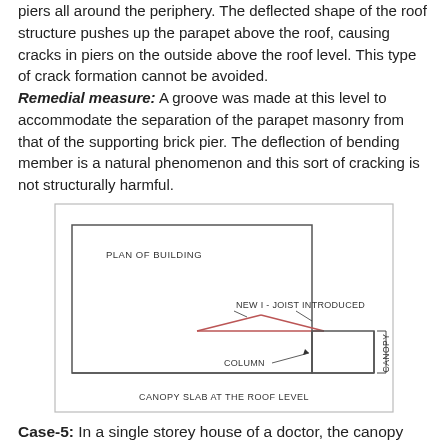piers all around the periphery. The deflected shape of the roof structure pushes up the parapet above the roof, causing cracks in piers on the outside above the roof level. This type of crack formation cannot be avoided. Remedial measure: A groove was made at this level to accommodate the separation of the parapet masonry from that of the supporting brick pier. The deflection of bending member is a natural phenomenon and this sort of cracking is not structurally harmful.
[Figure (engineering-diagram): Engineering diagram showing a plan of building with a canopy slab at the roof level. The diagram shows a rectangular building plan with a new I-joist introduced at the top (forming a triangular/pitched shape), columns, and a canopy section on the right side. Labels include: PLAN OF BUILDING, NEW I - JOIST INTRODUCED, COLUMN, CANOPY, CANOPY SLAB AT THE ROOF LEVEL.]
Case-5: In a single storey house of a doctor, the canopy slab at the level of the main roof was found to be sagging. The